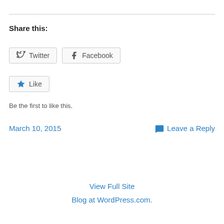Share this:
Twitter   Facebook
Like
Be the first to like this.
March 10, 2015   Leave a Reply
View Full Site
Blog at WordPress.com.